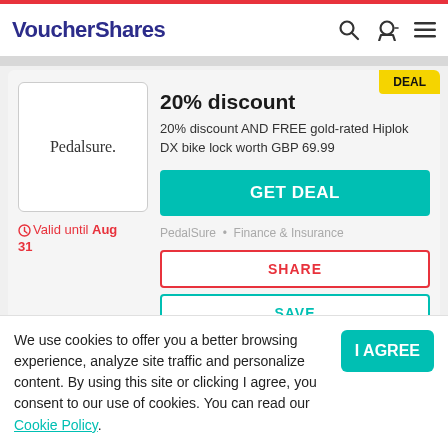VoucherShares
20% discount
20% discount AND FREE gold-rated Hiplok DX bike lock worth GBP 69.99
Valid until Aug 31
PedalSure · Finance & Insurance
We use cookies to offer you a better browsing experience, analyze site traffic and personalize content. By using this site or clicking I agree, you consent to our use of cookies. You can read our Cookie Policy.